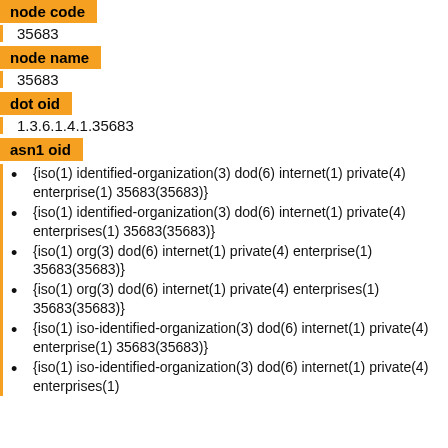node code
35683
node name
35683
dot oid
1.3.6.1.4.1.35683
asn1 oid
{iso(1) identified-organization(3) dod(6) internet(1) private(4) enterprise(1) 35683(35683)}
{iso(1) identified-organization(3) dod(6) internet(1) private(4) enterprises(1) 35683(35683)}
{iso(1) org(3) dod(6) internet(1) private(4) enterprise(1) 35683(35683)}
{iso(1) org(3) dod(6) internet(1) private(4) enterprises(1) 35683(35683)}
{iso(1) iso-identified-organization(3) dod(6) internet(1) private(4) enterprise(1) 35683(35683)}
{iso(1) iso-identified-organization(3) dod(6) internet(1) private(4) enterprises(1)